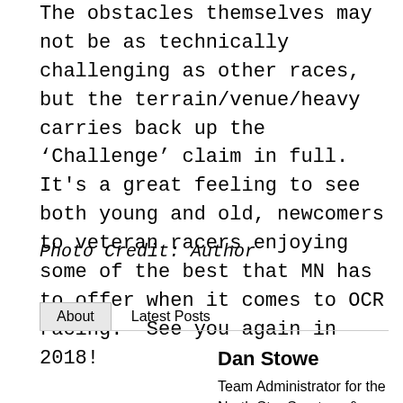The obstacles themselves may not be as technically challenging as other races, but the terrain/venue/heavy carries back up the ‘Challenge’ claim in full.  It's a great feeling to see both young and old, newcomers to veteran racers enjoying some of the best that MN has to offer when it comes to OCR racing.  See you again in 2018!
Photo Credit: Author
About  Latest Posts
Dan Stowe
Team Administrator for the North Star Spartans & OCR enthusiast.Main goals in